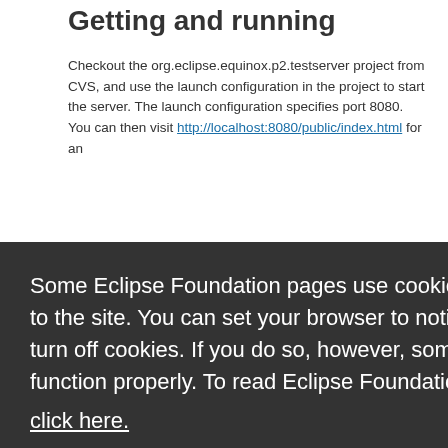Getting and running
Checkout the org.eclipse.equinox.p2.testserver project from CVS, and use the launch configuration in the project to start the server. The launch configuration specifies port 8080. You can then visit http://localhost:8080/public/index.html for an
Some Eclipse Foundation pages use cookies to better serve you when you return to the site. You can set your browser to notify you before you receive a cookie or turn off cookies. If you do so, however, some areas of some sites may not function properly. To read Eclipse Foundation Privacy Policy
click here.
Decline
Allow cookies
Take a look at